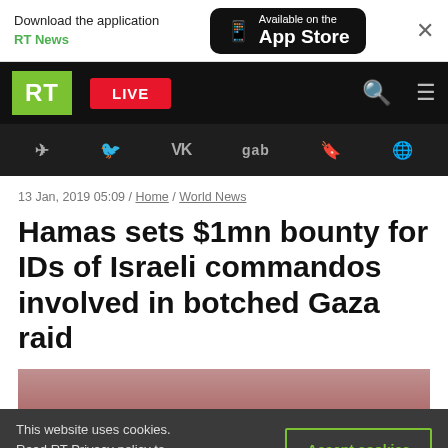[Figure (screenshot): App store download banner: 'Download the application RT News' with Apple App Store button and close X]
[Figure (screenshot): RT News navigation bar with green RT logo, red LIVE button, search and hamburger icons]
[Figure (screenshot): Social media icons bar: Telegram, Twitter, VK, gab, rumble, and world icon]
13 Jan, 2019 05:09 / Home / World News
Hamas sets $1mn bounty for IDs of Israeli commandos involved in botched Gaza raid
[Figure (photo): Partial image with pinkish/reddish tones at bottom of article]
This website uses cookies. Read RT Privacy policy to find out more.